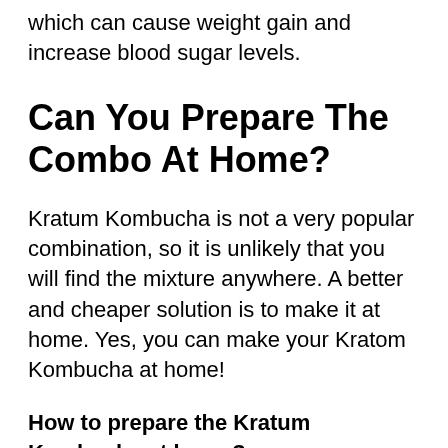which can cause weight gain and increase blood sugar levels.
Can You Prepare The Combo At Home?
Kratum Kombucha is not a very popular combination, so it is unlikely that you will find the mixture anywhere. A better and cheaper solution is to make it at home. Yes, you can make your Kratom Kombucha at home!
How to prepare the Kratum Kombucha at home?